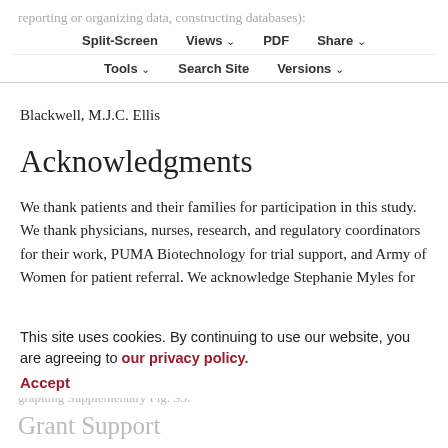reporting or organizing data, constructing databases): C.X. Ma, S. Thomas, J. Anderson, K.C. Banks, M.J.C. Ellis
Split-Screen | Views | PDF | Share | Tools | Search Site | Versions
Study supervision: C.X. Ma, D. Tripathy, A. Forero, K. Blackwell, M.J.C. Ellis
Acknowledgments
We thank patients and their families for participation in this study. We thank physicians, nurses, research, and regulatory coordinators for their work, PUMA Biotechnology for trial support, and Army of Women for patient referral. We acknowledge Stephanie Myles for
assisting protocol development and Zach Skidmore for graphing Supplementary Fig. S3.
This site uses cookies. By continuing to use our website, you are agreeing to our privacy policy.
Accept
Grant Support